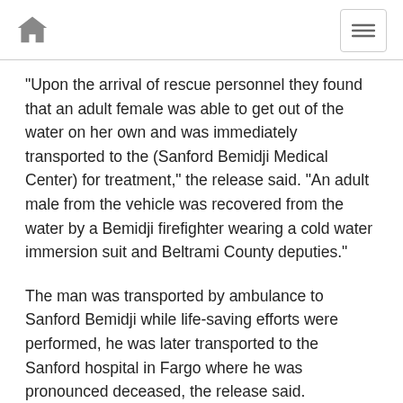[home icon] [menu icon]
"Upon the arrival of rescue personnel they found that an adult female was able to get out of the water on her own and was immediately transported to the (Sanford Bemidji Medical Center) for treatment," the release said. "An adult male from the vehicle was recovered from the water by a Bemidji firefighter wearing a cold water immersion suit and Beltrami County deputies."
The man was transported by ambulance to Sanford Bemidji while life-saving efforts were performed, he was later transported to the Sanford hospital in Fargo where he was pronounced deceased, the release said.
According to scanner traffic at the time of the incident, the vehicle was estimated to be around 300 feet out from Diamond Point Park.